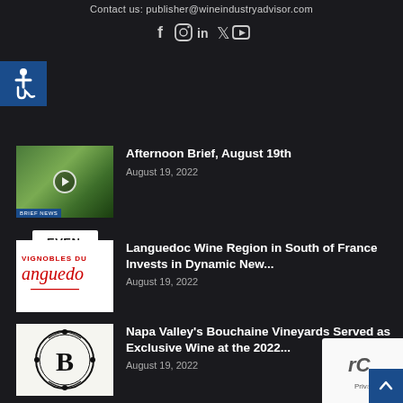Contact us: publisher@wineindustryadvisor.com
[Figure (infographic): Social media icons: Facebook, Instagram, LinkedIn, Twitter, YouTube]
[Figure (illustration): Blue accessibility icon box with wheelchair symbol]
EVEN MORE NEWS
[Figure (photo): Vineyard thumbnail with play button overlay and BRIEF NEWS label]
Afternoon Brief, August 19th
August 19, 2022
[Figure (logo): Vignobles du Languedoc logo on white background]
Languedoc Wine Region in South of France Invests in Dynamic New...
August 19, 2022
[Figure (logo): Bouchaine Vineyards ornate B logo on light background]
Napa Valley's Bouchaine Vineyards Served as Exclusive Wine at the 2022...
August 19, 2022